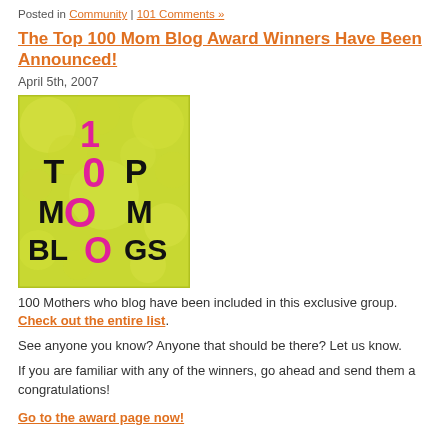Posted in Community | 101 Comments »
The Top 100 Mom Blog Award Winners Have Been Announced!
April 5th, 2007
[Figure (illustration): Top 100 Mom Blogs logo/badge with green bubble background and pink/black text reading '100 TOP MOM BLOGS']
100 Mothers who blog have been included in this exclusive group. Check out the entire list.
See anyone you know? Anyone that should be there? Let us know.
If you are familiar with any of the winners, go ahead and send them a congratulations!
Go to the award page now!